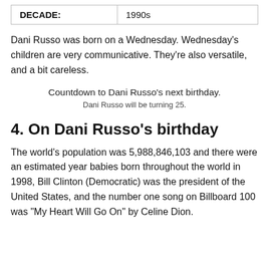| DECADE: |  |
| --- | --- |
| DECADE: | 1990s |
Dani Russo was born on a Wednesday. Wednesday's children are very communicative. They're also versatile, and a bit careless.
Countdown to Dani Russo's next birthday.
Dani Russo will be turning 25.
4. On Dani Russo's birthday
The world's population was 5,988,846,103 and there were an estimated year babies born throughout the world in 1998, Bill Clinton (Democratic) was the president of the United States, and the number one song on Billboard 100 was "My Heart Will Go On" by Celine Dion.